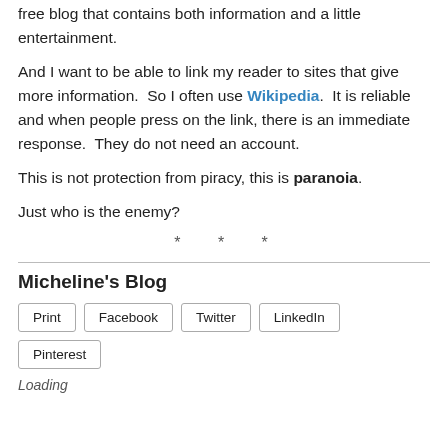free blog that contains both information and a little entertainment.
And I want to be able to link my reader to sites that give more information.  So I often use Wikipedia.  It is reliable and when people press on the link, there is an immediate response.  They do not need an account.
This is not protection from piracy, this is paranoia.
Just who is the enemy?
* * *
Micheline's Blog
Print  Facebook  Twitter  LinkedIn  Pinterest
Loading